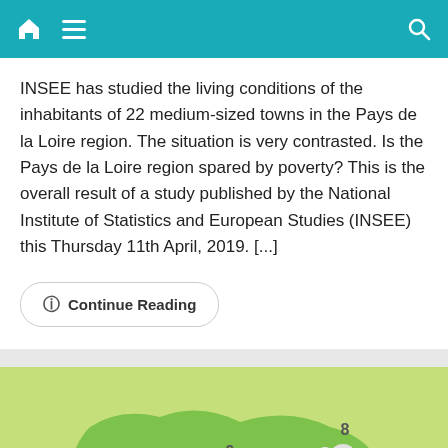Navigation bar with home, menu, and search icons
INSEE has studied the living conditions of the inhabitants of 22 medium-sized towns in the Pays de la Loire region. The situation is very contrasted. Is the Pays de la Loire region spared by poverty? This is the overall result of a study published by the National Institute of Statistics and European Studies (INSEE) this Thursday 11th April, 2019. [...]
Continue Reading
[Figure (map): A weather map showing the Pays de la Loire region of France in green, with cloud icons and temperature numbers (8, 9) displayed at various locations on the map.]